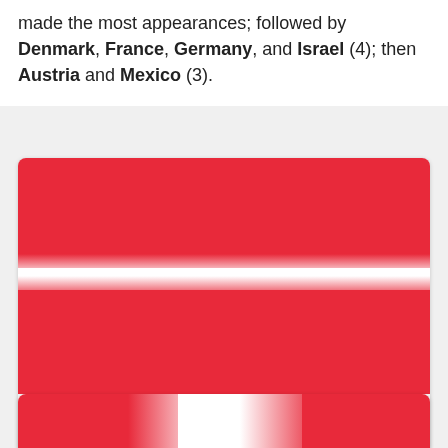made the most appearances; followed by Denmark, France, Germany, and Israel (4); then Austria and Mexico (3).
[Figure (illustration): Austrian flag (red-white-red horizontal stripes) displayed in a card]
Austria - Amour
Michael Haneke [French]
[Figure (illustration): Partial view of another flag card at the bottom]